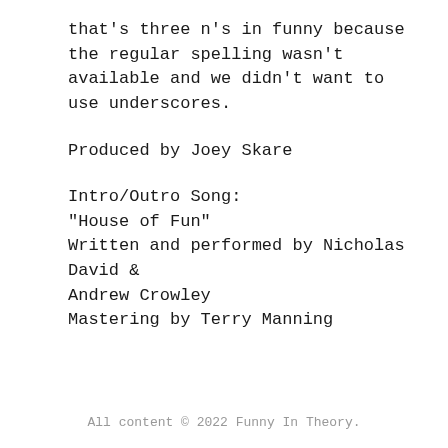that's three n's in funny because the regular spelling wasn't available and we didn't want to use underscores.
Produced by Joey Skare
Intro/Outro Song:
"House of Fun"
Written and performed by Nicholas David & Andrew Crowley
Mastering by Terry Manning
All content © 2022 Funny In Theory.